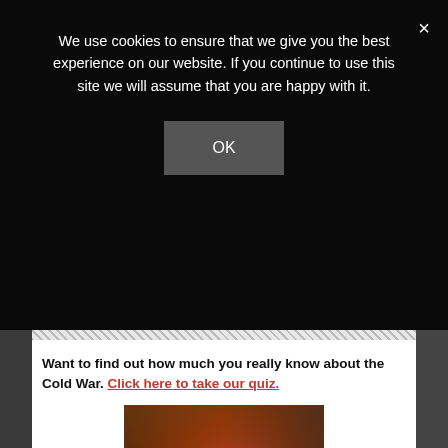We use cookies to ensure that we give you the best experience on our website. If you continue to use this site we will assume that you are happy with it.
OK
Want to find out how much you really know about the Cold War. Click here to take our quiz.
[Figure (photo): Woman with auburn hair holding an Animal Farm book, looking at camera]
Disappointed with your results. Join Cold War Studies and Download our free ebook  Cold War History A to Z that provides an in-depth overview of the